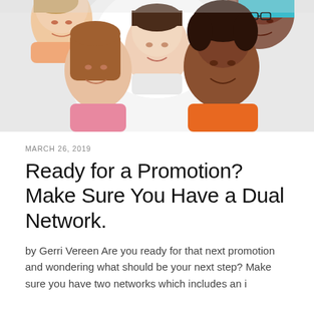[Figure (photo): Group of five diverse young women looking down at the camera from above, smiling, in a circle. Shot from below looking up. White background in center. Colorful clothing including orange, pink, teal.]
MARCH 26, 2019
Ready for a Promotion? Make Sure You Have a Dual Network.
by Gerri Vereen Are you ready for that next promotion and wondering what should be your next step? Make sure you have two networks which includes an i…